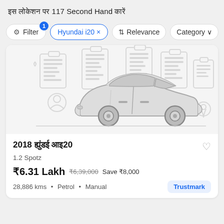इस लोकेशन पर 117 Second Hand कारें
Filter | Hyundai i20 × | Relevance | Category
[Figure (illustration): Outline illustration of a sedan car (side view) on a grey background with faint building/clipboard line art icons]
2018 ह्युंडई आइ20
1.2 Spotz
₹6.31 Lakh  ₹6,39,000  Save ₹8,000
28,886 kms  •  Petrol  •  Manual  |  Trustmark